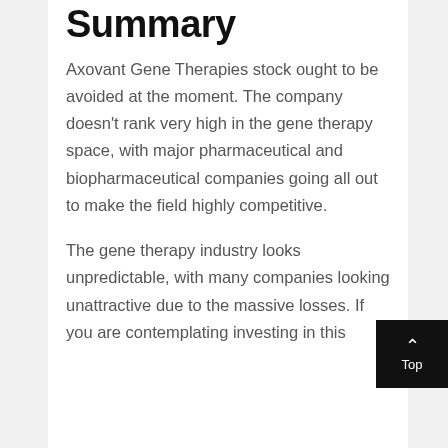Stock Forecast Summary
Axovant Gene Therapies stock ought to be avoided at the moment. The company doesn't rank very high in the gene therapy space, with major pharmaceutical and biopharmaceutical companies going all out to make the field highly competitive.
The gene therapy industry looks unpredictable, with many companies looking unattractive due to the massive losses. If you are contemplating investing in this